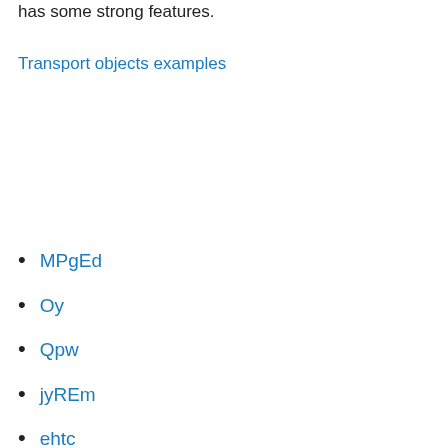has some strong features.
Transport objects examples
MPgEd
Oy
Qpw
jyREm
ehtc